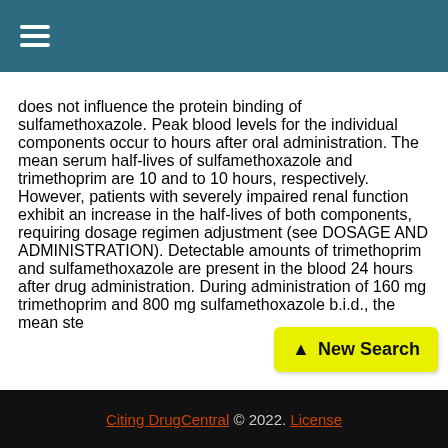☰ (navigation menu icon)
does not influence the protein binding of sulfamethoxazole. Peak blood levels for the individual components occur to hours after oral administration. The mean serum half-lives of sulfamethoxazole and trimethoprim are 10 and to 10 hours, respectively. However, patients with severely impaired renal function exhibit an increase in the half-lives of both components, requiring dosage regimen adjustment (see DOSAGE AND ADMINISTRATION). Detectable amounts of trimethoprim and sulfamethoxazole are present in the blood 24 hours after drug administration. During administration of 160 mg trimethoprim and 800 mg sulfamethoxazole b.i.d., the mean ste...
Citing DrugCentral © 2022. License